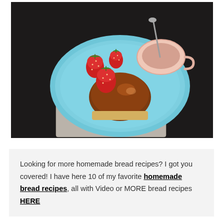[Figure (photo): Overhead view of a light blue ceramic plate on a dark table with a linen napkin, holding a glazed bread roll, fresh strawberries, and a pink/tan coffee cup with a spoon]
Looking for more homemade bread recipes? I got you covered! I have here 10 of my favorite homemade bread recipes, all with Video or MORE bread recipes HERE